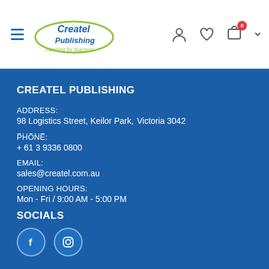Createl Publishing — Planning for Success
CREATEL PUBLISHING
ADDRESS:
98 Logistics Street, Keilor Park, Victoria 3042
PHONE:
+ 61 3 9336 0800
EMAIL:
sales@createl.com.au
OPENING HOURS:
Mon - Fri / 9:00 AM - 5:00 PM
SOCIALS
[Figure (illustration): Facebook and Instagram social media icons as circular buttons]